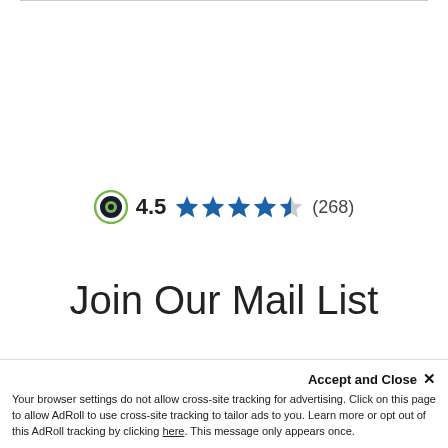[Figure (other): Trustpilot-style rating widget showing a circular green/black logo icon, the number 4.5, four full blue stars and one half blue star, and (268) review count]
Join Our Mail List
[Figure (other): Light grey input field placeholder with 'Your Name' text faintly visible]
Accept and Close ✕
Your browser settings do not allow cross-site tracking for advertising. Click on this page to allow AdRoll to use cross-site tracking to tailor ads to you. Learn more or opt out of this AdRoll tracking by clicking here. This message only appears once.